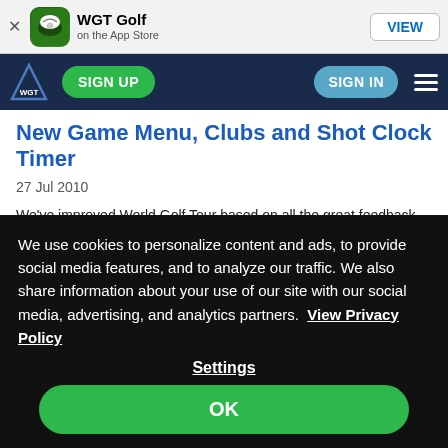WGT Golf on the App Store  VIEW
SIGN UP  SIGN IN
New Game Menu, Clubs and Shot Clock Timer
27 Jul 2010
We've improved World Golf Tour based on all the great feedback from our players. Here is what's new in today's release, and please keep your suggestions coming to members@worldgolftour.com
New Game Main Menu
We use cookies to personalize content and ads, to provide social media features, and to analyze our traffic. We also share information about your use of our site with our social media, advertising, and analytics partners.  View Privacy Policy
Settings
OK